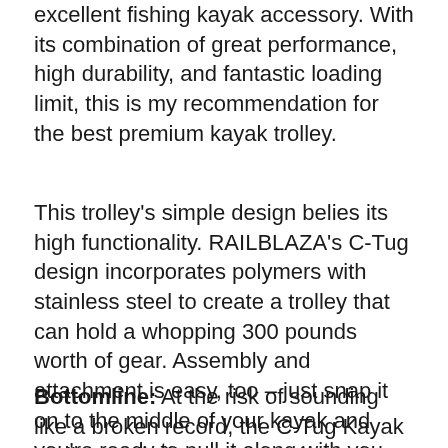excellent fishing kayak accessory. With its combination of great performance, high durability, and fantastic loading limit, this is my recommendation for the best premium kayak trolley.
This trolley's simple design belies its high functionality. RAILBLAZA's C-Tug design incorporates polymers with stainless steel to create a trolley that can hold a whopping 300 pounds worth of gear. Assembly and attachment is easy, too – just snap it on to the middle of your kayak and you're ready to pull it along with you.
Bottomline: At the risk of sounding like a broken record, the C-Tug Kayak Trolley really is a product where you get exactly what you